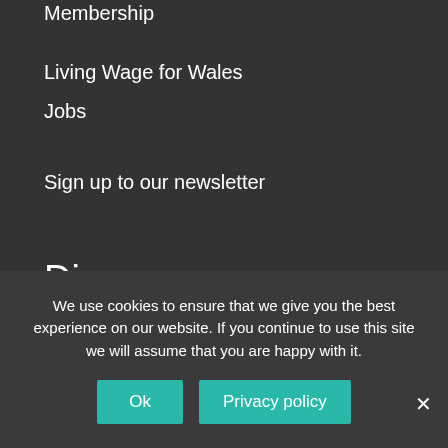Membership
Living Wage for Wales
Jobs
Sign up to our newsletter
Discover
News and Events
–
We use cookies to ensure that we give you the best experience on our website. If you continue to use this site we will assume that you are happy with it.
Ok
Privacy policy